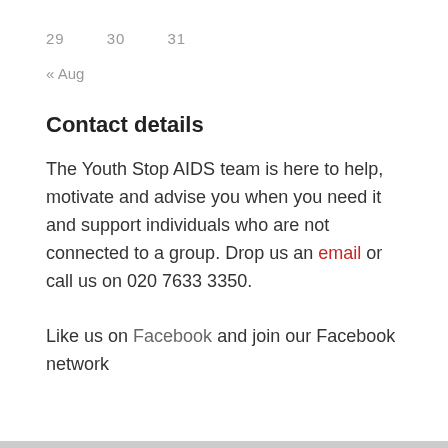29   30   31
« Aug
Contact details
The Youth Stop AIDS team is here to help, motivate and advise you when you need it and support individuals who are not connected to a group. Drop us an email or call us on 020 7633 3350.
Like us on Facebook and join our Facebook network